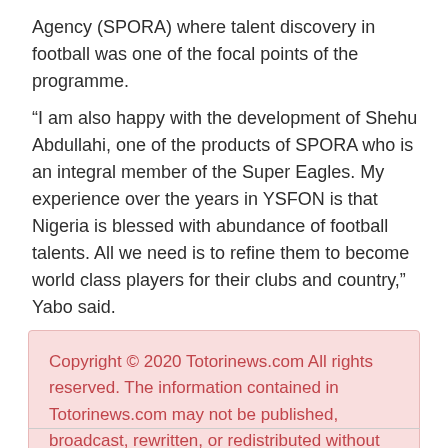Agency (SPORA) where talent discovery in football was one of the focal points of the programme.
“I am also happy with the development of Shehu Abdullahi, one of the products of SPORA who is an integral member of the Super Eagles. My experience over the years in YSFON is that Nigeria is blessed with abundance of football talents. All we need is to refine them to become world class players for their clubs and country,” Yabo said.
Copyright © 2020 Totorinews.com All rights reserved. The information contained in Totorinews.com may not be published, broadcast, rewritten, or redistributed without giving due credit to Totorinews.com as the source.